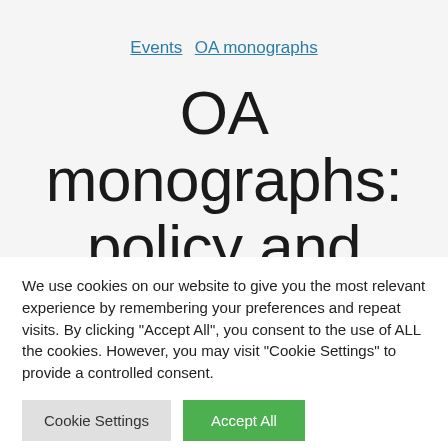Events  OA monographs
OA monographs: policy and practice for supporting
We use cookies on our website to give you the most relevant experience by remembering your preferences and repeat visits. By clicking "Accept All", you consent to the use of ALL the cookies. However, you may visit "Cookie Settings" to provide a controlled consent.
Cookie Settings
Accept All